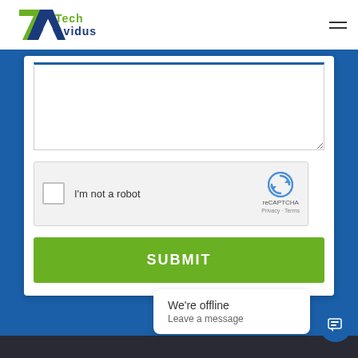[Figure (logo): Tech Avidus logo with geometric 7A mark in green and blue, with text 'Tech Avidus' in green and blue]
[Figure (screenshot): Web form with textarea (message field), reCAPTCHA widget showing 'I'm not a robot' checkbox, and green SUBMIT button]
[Figure (screenshot): Chat widget popup showing 'We're offline / Leave a message' with chat bubble icon button]